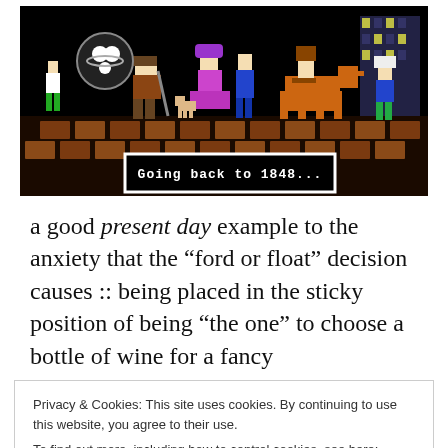[Figure (screenshot): Retro pixel art video game screenshot with 8-bit characters on a dark background. A dialog box at the bottom reads: 'Going back to 1848...']
a good present day example to the anxiety that the “ford or float” decision causes :: being placed in the sticky position of being “the one” to choose a bottle of wine for a fancy
Privacy & Cookies: This site uses cookies. By continuing to use this website, you agree to their use.
To find out more, including how to control cookies, see here: Cookie Policy
Close and accept